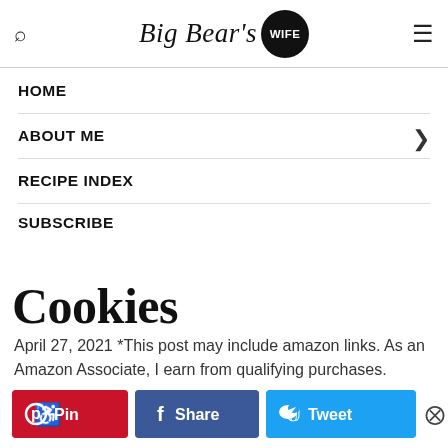Big Bear's WIFE
HOME
ABOUT ME
RECIPE INDEX
SUBSCRIBE
Cookies
April 27, 2021 *This post may include amazon links. As an Amazon Associate, I earn from qualifying purchases.
[Figure (infographic): Social share buttons: Pin (red), Share (blue/Facebook), Tweet (light blue/Twitter), and share count showing 177 SHARES]
These Orange Creamsicle Cookies are the perfect combination of vanilla and orange! They're soft, smell just like Orange Creamsicle ice cream and are topped with a white